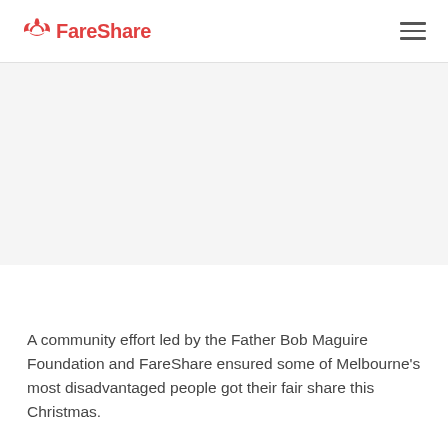FareShare
[Figure (photo): A photo related to the Father Bob Maguire Foundation and FareShare Christmas community effort (image placeholder area)]
A community effort led by the Father Bob Maguire Foundation and FareShare ensured some of Melbourne's most disadvantaged people got their fair share this Christmas.
Father Bob's traditional Christmas lunch was